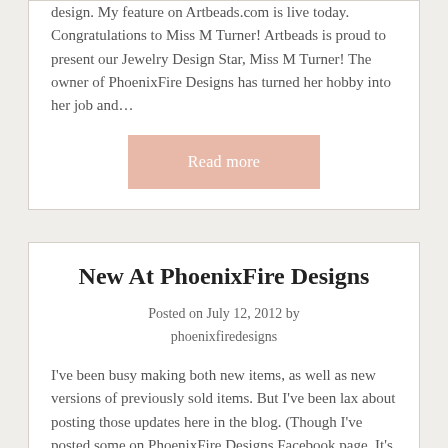design. My feature on Artbeads.com is live today. Congratulations to Miss M Turner! Artbeads is proud to present our Jewelry Design Star, Miss M Turner! The owner of PhoenixFire Designs has turned her hobby into her job and…
Read more
New At PhoenixFire Designs
Posted on July 12, 2012 by phoenixfiredesigns
I've been busy making both new items, as well as new versions of previously sold items. But I've been lax about posting those updates here in the blog. (Though I've posted some on PhoenixFire Designs Facebook page. It's a good resources to get more up-to-the-minute updates. 😉 But not the blog, his getting! Click...